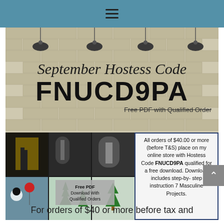Navigation menu (hamburger icon)
[Figure (illustration): September Hostess Code FNUCD9PA promotional banner with brick background and pendant lamps, showing script title 'September Hostess Code', large bold code 'FNUCD9PA', subtitle 'Free PDF with Qualified Order', plus a grid of Christmas card photos and an info box about ordering with hostess code.]
For orders of $40 or more before tax and